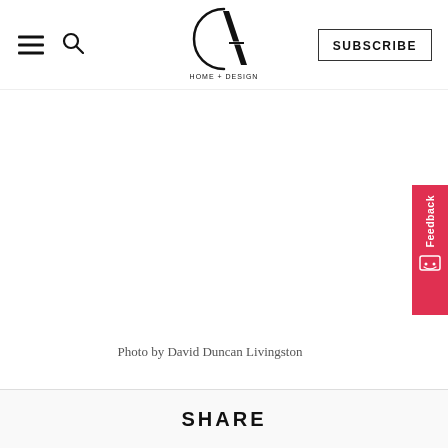CA Home + Design — navigation header with hamburger menu, search icon, logo, and SUBSCRIBE button
[Figure (logo): CA Home + Design logo — stylized C and A letters with 'HOME + DESIGN' text underneath]
Photo by David Duncan Livingston
SHARE